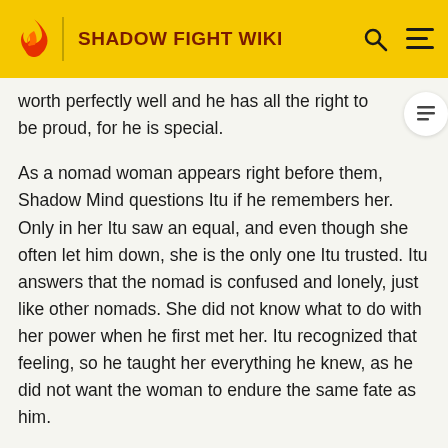SHADOW FIGHT WIKI
worth perfectly well and he has all the right to be proud, for he is special.
As a nomad woman appears right before them, Shadow Mind questions Itu if he remembers her. Only in her Itu saw an equal, and even though she often let him down, she is the only one Itu trusted. Itu answers that the nomad is confused and lonely, just like other nomads. She did not know what to do with her power when he first met her. Itu recognized that feeling, so he taught her everything he knew, as he did not want the woman to endure the same fate as him.
Act II, Part III: The Truth of Nexus
Proxy is reactivated once the party has arrived at the